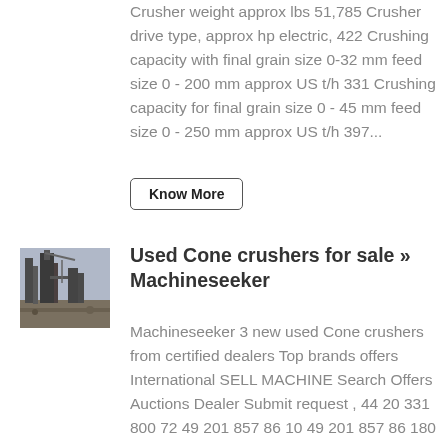Crusher weight approx lbs 51,785 Crusher drive type, approx hp electric, 422 Crushing capacity with final grain size 0-32 mm feed size 0 - 200 mm approx US t/h 331 Crushing capacity for final grain size 0 - 45 mm feed size 0 - 250 mm approx US t/h 397...
Know More
[Figure (photo): Photo of industrial cone crusher machinery at a facility]
Used Cone crushers for sale » Machineseeker
Machineseeker 3 new used Cone crushers from certified dealers Top brands offers International SELL MACHINE Search Offers Auctions Dealer Submit request , 44 20 331 800 72 49 201 857 86 10 49 201 857 86 180